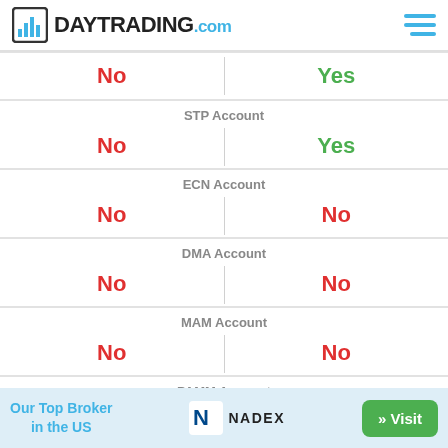DAYTRADING.com
| Broker 1 | Broker 2 |
| --- | --- |
| No | Yes |
| STP Account | STP Account |
| No | Yes |
| ECN Account | ECN Account |
| No | No |
| DMA Account | DMA Account |
| No | No |
| MAM Account | MAM Account |
| No | No |
| PAMM Account | PAMM Account |
| No | No |
| LAMM Account | LAMM Account |
Our Top Broker in the US  NADEX  » Visit